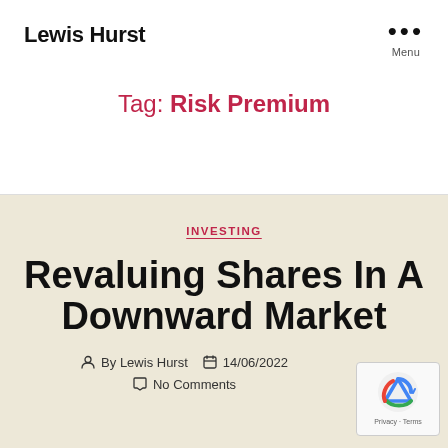Lewis Hurst
Tag: Risk Premium
INVESTING
Revaluing Shares In A Downward Market
By Lewis Hurst  14/06/2022  No Comments